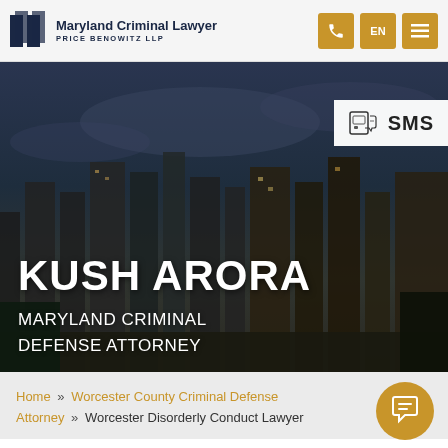Maryland Criminal Lawyer — PRICE BENOWITZ LLP
KUSH ARORA
MARYLAND CRIMINAL DEFENSE ATTORNEY
SMS
Home » Worcester County Criminal Defense Attorney » Worcester Disorderly Conduct Lawyer